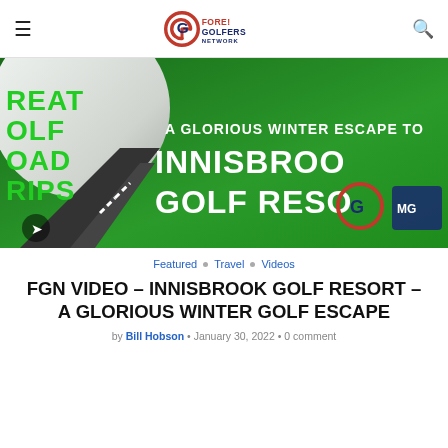Fore! Golfers Network
[Figure (screenshot): Promotional video thumbnail for 'A Glorious Winter Escape to Innisbrook Golf Resort' showing a golf ball, road, green background, and bold white text. Logos for Fore Golfers Network and another network visible. Play/share icon at bottom left.]
Featured · Travel · Videos
FGN VIDEO – INNISBROOK GOLF RESORT – A GLORIOUS WINTER GOLF ESCAPE
by Bill Hobson · January 30, 2022 · 0 comment